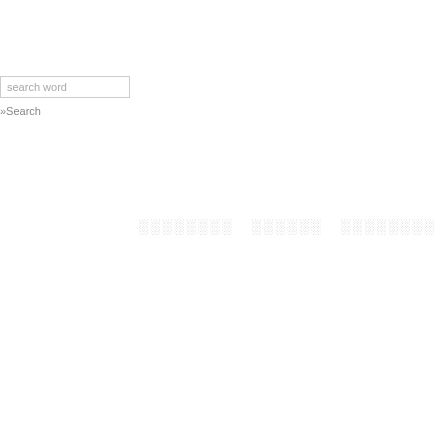search word
»Search
░░░░░░░░  ░░░░░░  ░░░░░░░░